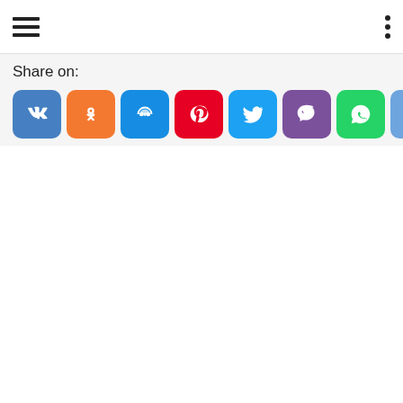Navigation header with hamburger menu and three-dot menu
Share on:
[Figure (infographic): Row of 9 social media share buttons: VK (blue), Odnoklassniki (orange), My World (blue), Pinterest (red), Twitter (blue), Viber (purple), WhatsApp (green), Skype (light blue), Telegram (light blue-grey)]